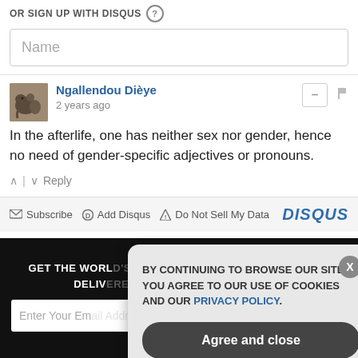OR SIGN UP WITH DISQUS
[Figure (screenshot): Name input field placeholder]
Ngallendou Dièye
2 years ago
In the afterlife, one has neither sex nor gender, hence no need of gender-specific adjectives or pronouns.
Subscribe | Add Disqus | Do Not Sell My Data | DISQUS
[Figure (screenshot): Dark section with newsletter signup and cookie consent popup overlay. Cookie popup says: BY CONTINUING TO BROWSE OUR SITE YOU AGREE TO OUR USE OF COOKIES AND OUR PRIVACY POLICY. Has Agree and close button.]